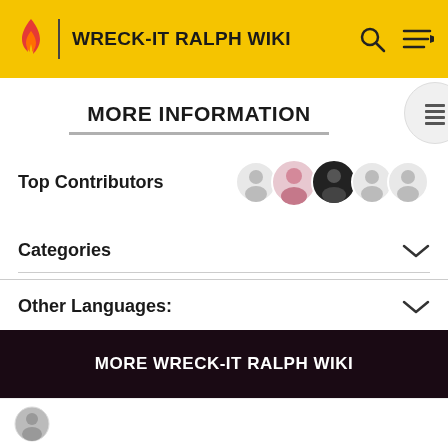WRECK-IT RALPH WIKI
MORE INFORMATION
Top Contributors
Categories
Other Languages:
Community content is available under CC-BY-SA unless otherwise noted.
MORE WRECK-IT RALPH WIKI